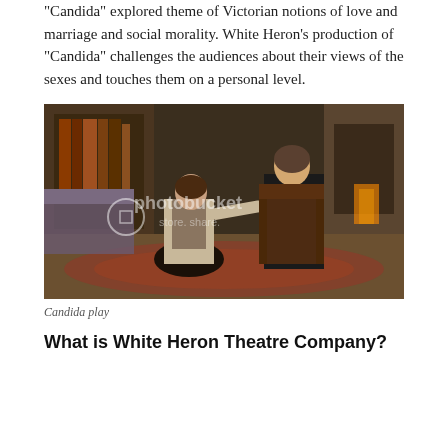“Candida” explored theme of Victorian notions of love and marriage and social morality. White Heron’s production of “Candida” challenges the audiences about their views of the sexes and touches them on a personal level.
[Figure (photo): A theatrical scene from the play Candida showing a woman in period costume kneeling and reaching toward a man in clerical dress seated in a wooden chair, set in a Victorian-style room with bookshelves and fireplace. A Photobucket watermark is visible.]
Candida play
What is White Heron Theatre Company?